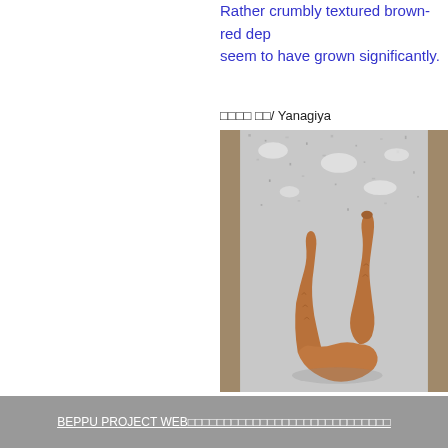Rather crumbly textured brown-red dep... seem to have grown significantly.
□□□□ □□/ Yanagiya
[Figure (photo): A brown-red crumbly textured fungus or organic growth photographed on a grey speckled stone surface. The specimen has a branching, claw-like or antler-like shape with two prongs visible.]
BEPPU PROJECT WEB□□□□□□□□□□□□□□□□□□□□□□□□□□□□